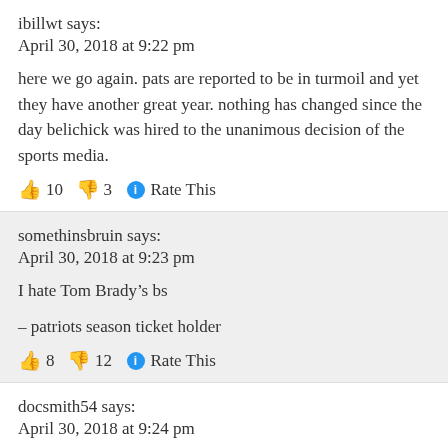ibillwt says:
April 30, 2018 at 9:22 pm
here we go again. pats are reported to be in turmoil and yet they have another great year. nothing has changed since the day belichick was hired to the unanimous decision of the sports media.
👍 10 👎 3 ℹ Rate This
somethinsbruin says:
April 30, 2018 at 9:23 pm
I hate Tom Brady’s bs
– patriots season ticket holder
👍 8 👎 12 ℹ Rate This
docsmith54 says:
April 30, 2018 at 9:24 pm